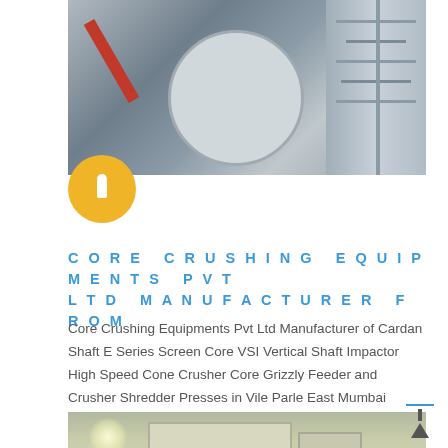[Figure (photo): Industrial equipment photo showing a large spherical/cylindrical tank, a red crane arm, and industrial structures on the right side]
CORE CRUSHING EQUIPMENTS PVT LTD MANUFACTURER FROM
Core Crushing Equipments Pvt Ltd Manufacturer of Cardan Shaft E Series Screen Core VSI Vertical Shaft Impactor High Speed Cone Crusher Core Grizzly Feeder and Crusher Shredder Presses in Vile Parle East Mumbai Maharashtra
[Figure (photo): Industrial photo showing a large crushing or processing machine inside a warehouse/factory with roof lighting visible]